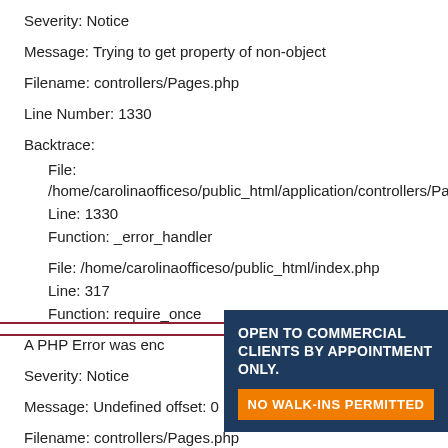Severity: Notice
Message: Trying to get property of non-object
Filename: controllers/Pages.php
Line Number: 1330
Backtrace:
File: /home/carolinaofficeso/public_html/application/controllers/Pages.
Line: 1330
Function: _error_handler
File: /home/carolinaofficeso/public_html/index.php
Line: 317
Function: require_once
A PHP Error was enc
Severity: Notice
Message: Undefined offset: 0
Filename: controllers/Pages.php
Line Number: 1331
[Figure (infographic): Dark navy banner overlay with text: OPEN TO COMMERCIAL CLIENTS BY APPOINTMENT ONLY. and orange button: NO WALK-INS PERMITTED]